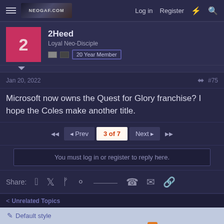Log in  Register
2Heed
Loyal Neo-Disciple
20 Year Member
Jan 20, 2022  #75
Microsoft now owns the Quest for Glory franchise? I hope the Coles make another title.
◄◄  ◄ Prev  3 of 7  Next ►  ►►
You must log in or register to reply here.
Share:
< Unrelated Topics
Default style
Terms and rules  Privacy policy  Help  Home